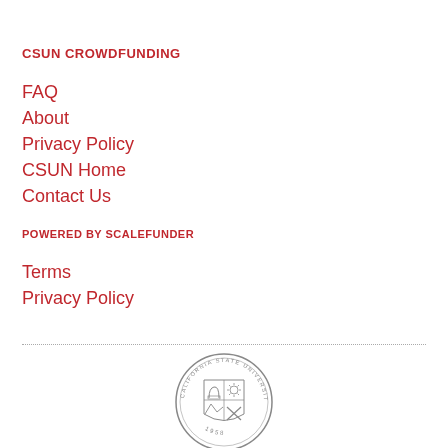CSUN CROWDFUNDING
FAQ
About
Privacy Policy
CSUN Home
Contact Us
POWERED BY SCALEFUNDER
Terms
Privacy Policy
[Figure (logo): California State University Northridge seal, circular emblem with shield quarters showing arch, sun, mountains, and tools, dated 1958]